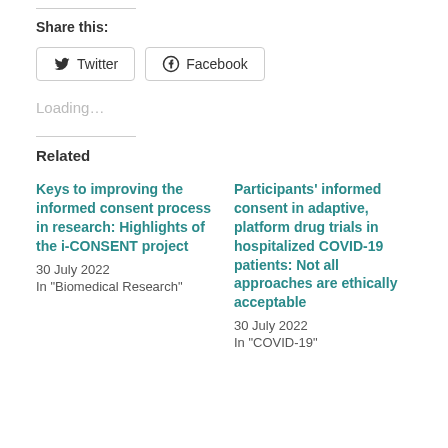Share this:
Twitter  Facebook
Loading…
Related
Keys to improving the informed consent process in research: Highlights of the i-CONSENT project
30 July 2022
In "Biomedical Research"
Participants' informed consent in adaptive, platform drug trials in hospitalized COVID-19 patients: Not all approaches are ethically acceptable
30 July 2022
In "COVID-19"